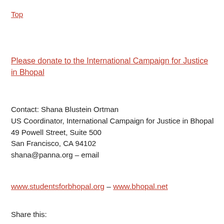Top
Please donate to the International Campaign for Justice in Bhopal
Contact: Shana Blustein Ortman
US Coordinator, International Campaign for Justice in Bhopal
49 Powell Street, Suite 500
San Francisco, CA 94102
shana@panna.org – email
www.studentsforbhopal.org – www.bhopal.net
Share this: